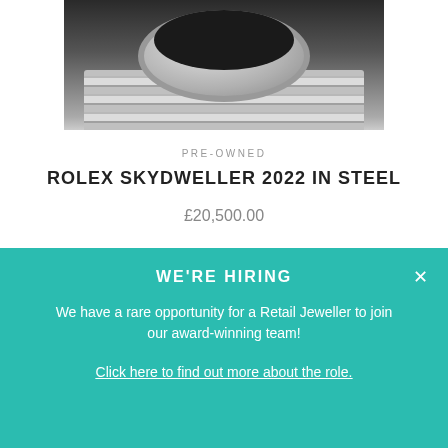[Figure (photo): Close-up product photo of a Rolex Skydweller watch showing the bezel and steel bracelet on dark background]
PRE-OWNED
ROLEX SKYDWELLER 2022 IN STEEL
£20,500.00
[Figure (photo): Close-up product photo of a Rolex steel jubilee bracelet on dark background]
WE'RE HIRING
We have a rare opportunity for a Retail Jeweller to join our award-winning team!
Click here to find out more about the role.